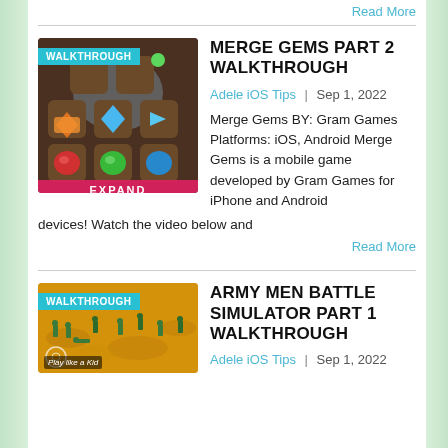Read More
[Figure (screenshot): Merge Gems game thumbnail with WALKTHROUGH badge, showing gem icons on brown tiles and EXPAND text at bottom]
MERGE GEMS PART 2 WALKTHROUGH
Adele iOS Tips | Sep 1, 2022
Merge Gems BY: Gram Games Platforms: iOS, Android Merge Gems is a mobile game developed by Gram Games for iPhone and Android devices! Watch the video below and
Read More
[Figure (screenshot): Army Men Battle Simulator game thumbnail with WALKTHROUGH badge, showing military figures on sandy terrain with Play like a Kid text]
ARMY MEN BATTLE SIMULATOR PART 1 WALKTHROUGH
Adele iOS Tips | Sep 1, 2022